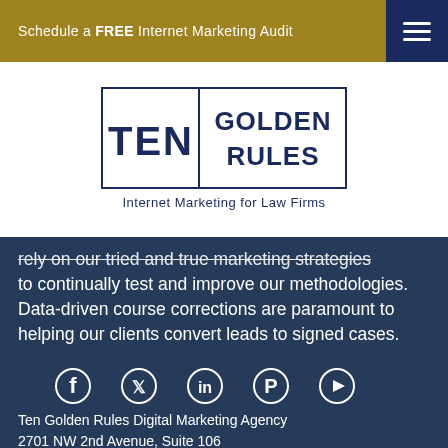Schedule a FREE Internet Marketing Audit
[Figure (logo): Ten Golden Rules Internet Marketing for Law Firms logo — text in navy blue with rectangular border]
rely on our tried and true marketing strategies to continually test and improve our methodologies. Data-driven course corrections are paramount to helping our clients convert leads to signed cases.
[Figure (infographic): Social media icons row: Facebook, Twitter, LinkedIn, Pinterest, YouTube]
Ten Golden Rules Digital Marketing Agency
2701 NW 2nd Avenue, Suite 106